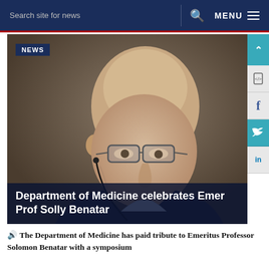Search site for news   Q   MENU
[Figure (photo): Close-up photo of an elderly bald man with glasses wearing a dark suit, speaking at a podium, with a NEWS badge overlay and title overlay reading 'Department of Medicine celebrates Emer Prof Solly Benatar']
Department of Medicine celebrates Emer Prof Solly Benatar
The Department of Medicine has paid tribute to Emeritus Professor Solomon Benatar with a symposium